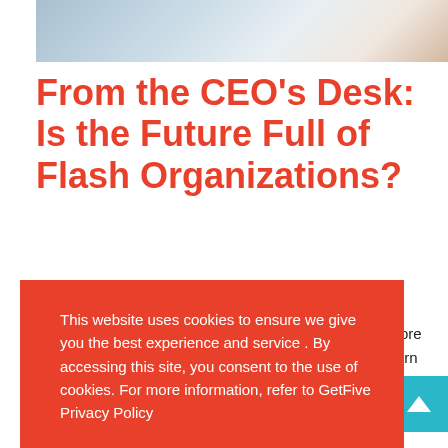[Figure (photo): Partial photo strip at top showing people at a table, cropped]
From the CEO’s Desk: Is the Future Full of Flash Organizations?
opment |
lude more ns. Learn v....
This website uses cookies to ensure we give you the best experience and service . By accessing this site, you consent to the use of cookies. For more information, refer to GetFive Privacy Policy
Accept
READ MORE